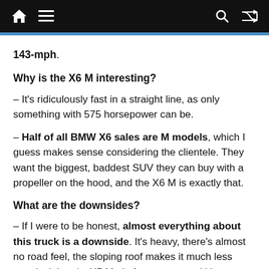[nav bar with home, menu, search, shuffle icons]
143-mph.
Why is the X6 M interesting?
– It's ridiculously fast in a straight line, as only something with 575 horsepower can be.
– Half of all BMW X6 sales are M models, which I guess makes sense considering the clientele. They want the biggest, baddest SUV they can buy with a propeller on the hood, and the X6 M is exactly that.
What are the downsides?
– If I were to be honest, almost everything about this truck is a downside. It's heavy, there's almost no road feel, the sloping roof makes it much less practical than its X5 M platform-mate, and it's very expensive. Yes, it's